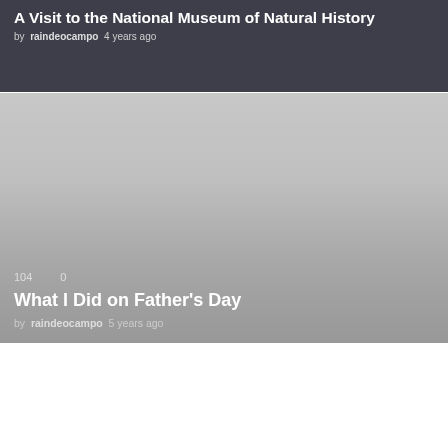A Visit to the National Museum of Natural History
by raindeocampo 4 years ago
[Figure (photo): Card thumbnail with gray/dark overlay background for second article]
104  0
What I Did on Father's Day
by raindeocampo 5 years ago